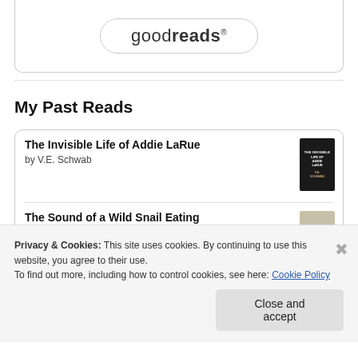[Figure (logo): Goodreads logo in a rounded rectangle border]
My Past Reads
The Invisible Life of Addie LaRue
by V.E. Schwab
The Sound of a Wild Snail Eating
by Elisabeth Tova Bailey
Privacy & Cookies: This site uses cookies. By continuing to use this website, you agree to their use.
To find out more, including how to control cookies, see here: Cookie Policy